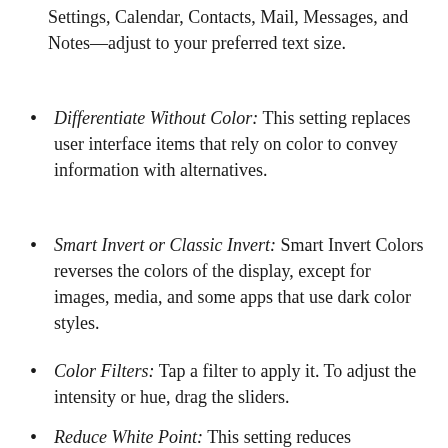Settings, Calendar, Contacts, Mail, Messages, and Notes—adjust to your preferred text size.
Differentiate Without Color: This setting replaces user interface items that rely on color to convey information with alternatives.
Smart Invert or Classic Invert: Smart Invert Colors reverses the colors of the display, except for images, media, and some apps that use dark color styles.
Color Filters: Tap a filter to apply it. To adjust the intensity or hue, drag the sliders.
Reduce White Point: This setting reduces